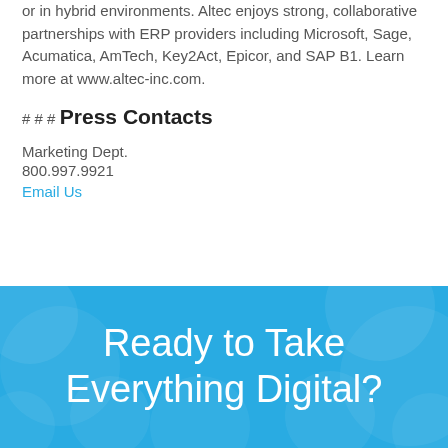or in hybrid environments.  Altec enjoys strong, collaborative partnerships with ERP providers including Microsoft, Sage, Acumatica, AmTech, Key2Act, Epicor, and SAP B1.  Learn more at www.altec-inc.com.
# # #
Press Contacts
Marketing Dept.
800.997.9921
Email Us
Ready to Take Everything Digital?